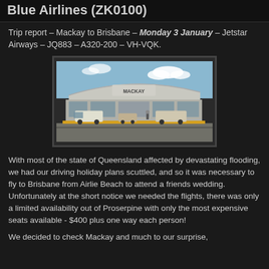Blue Airlines (ZK0100)
Trip report – Mackay to Brisbane – Monday 3 January – Jetstar Airways – JQ883 – A320-200 – VH-VQK.
[Figure (photo): Photograph of Mackay Airport terminal building exterior, showing modern curved canopy roof structure, vehicles parked outside, and people near the entrance.]
With most of the state of Queensland affected by devastating flooding, we had our driving holiday plans scuttled, and so it was necessary to fly to Brisbane from Airlie Beach to attend a friends wedding. Unfortunately at the short notice we needed the flights, there was only a limited availability out of Proserpine with only the most expensive seats available - $400 plus one way each person!
We decided to check Mackay and much to our surprise,